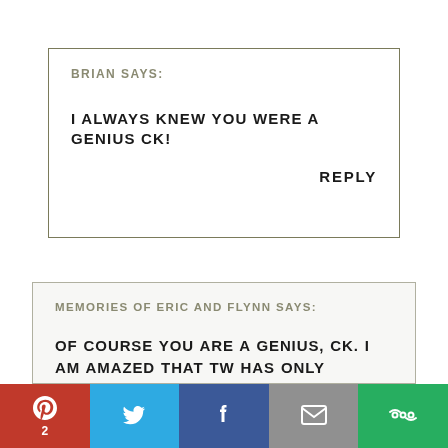BRIAN SAYS:
I ALWAYS KNEW YOU WERE A GENIUS CK!
REPLY
MEMORIES OF ERIC AND FLYNN SAYS:
OF COURSE YOU ARE A GENIUS, CK. I AM AMAZED THAT TW HAS ONLY REALISED IT ON TWO OCCASIONS.
[Figure (other): Social sharing bar with Pinterest (2), Twitter, Facebook, Email, and More buttons]